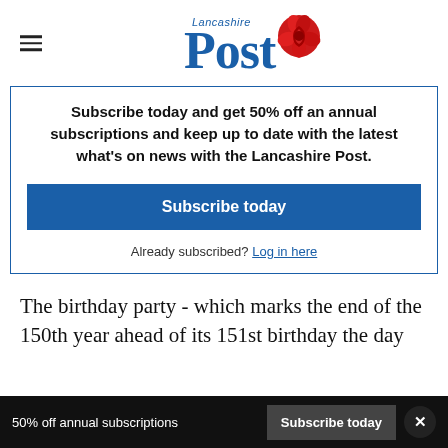Lancashire Post
Subscribe today and get 50% off an annual subscriptions and keep up to date with the latest what's on news with the Lancashire Post.
Subscribe today
Already subscribed? Log in here
The birthday party - which marks the end of the 150th year ahead of its 151st birthday the day
50% off annual subscriptions   Subscribe today   ×